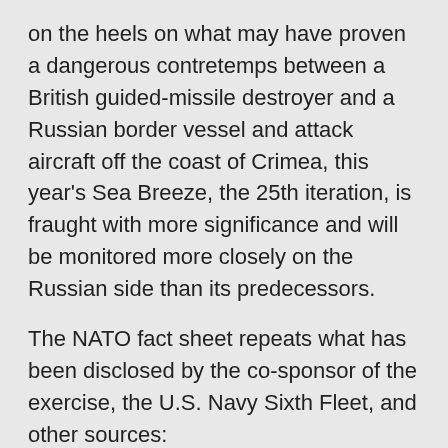on the heels on what may have proven a dangerous contretemps between a British guided-missile destroyer and a Russian border vessel and attack aircraft off the coast of Crimea, this year's Sea Breeze, the 25th iteration, is fraught with more significance and will be monitored more closely on the Russian side than its predecessors.
The NATO fact sheet repeats what has been disclosed by the co-sponsor of the exercise, the U.S. Navy Sixth Fleet, and other sources:
– That over 30 (32 by one count) nations will participate in the event, more than in any previous version
– That those nations are situated on all six populated continents